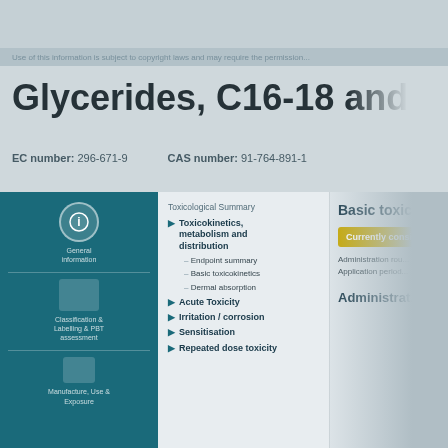Use of this information is subject to copyright laws and may require the permission...
Glycerides, C16-18 and C18-unsatd. mo...
EC number: 296-671-9   CAS number: 91-764-891-1
[Figure (infographic): Blue left panel with three icon blocks: information icon with text about general information and structural/physicochemical properties, a rectangular icon block for Classification & Labelling & PBT assessment, and a small document icon for Manufacture/Use & Exposure]
Toxicological Summary
Toxicokinetics, metabolism and distribution
Endpoint summary
Basic toxicokinetics
Dermal absorption
Acute Toxicity
Irritation / corrosion
Sensitisation
Repeated dose toxicity
Basic toxicol...
Currently consid...
Administration rou...
Application period...
Administrat...